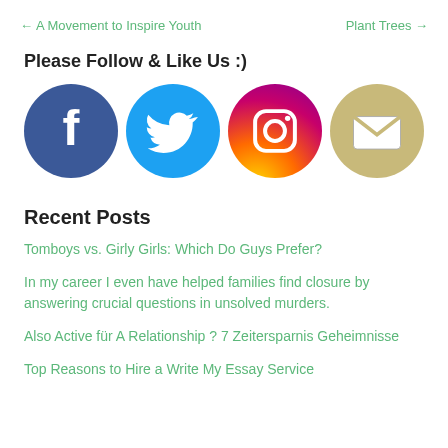← A Movement to Inspire Youth    Plant Trees →
Please Follow & Like Us :)
[Figure (illustration): Four social media icons: Facebook, Twitter, Instagram, and Email (envelope)]
Recent Posts
Tomboys vs. Girly Girls: Which Do Guys Prefer?
In my career I even have helped families find closure by answering crucial questions in unsolved murders.
Also Active für A Relationship ? 7 Zeitersparnis Geheimnisse
Top Reasons to Hire a Write My Essay Service